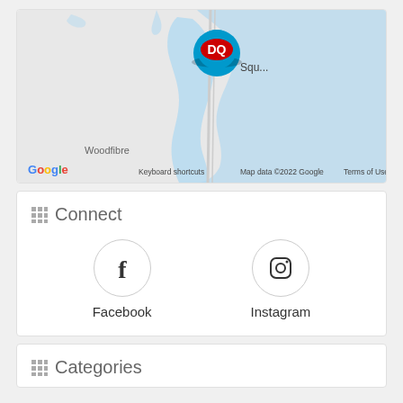[Figure (map): Google Maps screenshot showing a DQ (Dairy Queen) location marker on a map near Squamish area, with water bodies in light blue. Shows 'Woodfibre' label. Map footer shows 'Keyboard shortcuts', 'Map data ©2022 Google', 'Terms of Use', and Google logo.]
Connect
[Figure (logo): Facebook circle icon with 'f' letter inside a circular border]
Facebook
[Figure (logo): Instagram circle icon with camera outline inside a circular border]
Instagram
Categories